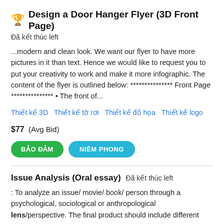Design a Door Hanger Flyer (3D Front Page)
Đã kết thúc left
...modern and clean look. We want our flyer to have more pictures in it than text. Hence we would like to request you to put your creativity to work and make it more infographic. The content of the flyer is outlined below: *************** Front Page *************** • The front of...
Thiết kế 3D   Thiết kế tờ rơi   Thiết kế đồ họa   Thiết kế logo
$77  (Avg Bid)
BẢO ĐẢM   NIÊM PHONG
Issue Analysis (Oral essay)  Đã kết thúc left
: To analyze an issue/ movie/ book/ person through a psychological, sociological or anthropological lens/perspective. The final product should include different